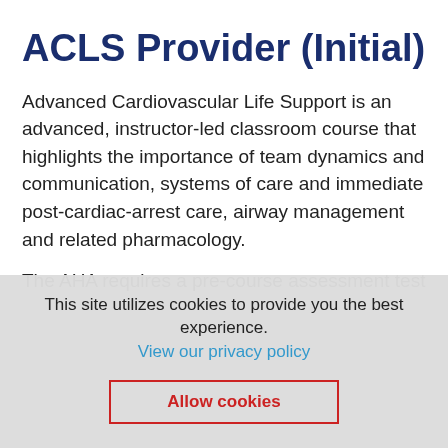ACLS Provider (Initial)
Advanced Cardiovascular Life Support is an advanced, instructor-led classroom course that highlights the importance of team dynamics and communication, systems of care and immediate post-cardiac-arrest care, airway management and related pharmacology.
The AHA requires a pre-course assessment test
This site utilizes cookies to provide you the best experience.
View our privacy policy
Allow cookies